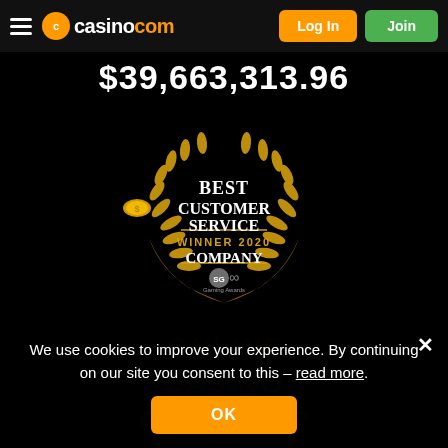casino.com — Log In | Join
$39,663,313.96
[Figure (illustration): Gold laurel wreath award badge with text: Best Customer Service Winner 2020 Company, with SG Gaming Awards logo at bottom center, and a decorative crossed laurel stem at the bottom. A gold coin floats to the upper left of the badge.]
[Figure (illustration): Faint watermark text in the background: Online Casino Operator Winner 2018 International Gaming]
We use cookies to improve your experience. By continuing on our site you consent to this – read more.